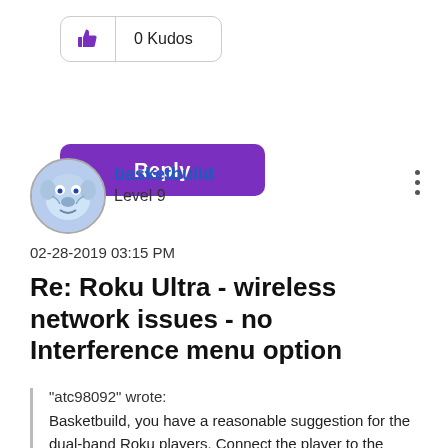[Figure (other): Kudos button with thumbs up icon and 0 Kudos count in a rounded rectangle]
[Figure (other): Purple Reply button with rounded corners]
[Figure (other): User avatar showing a bulldog mascot illustration]
basketbuild
Level 9
02-28-2019 03:15 PM
Re: Roku Ultra - wireless network issues - no Interference menu option
"atc98092" wrote:
Basketbuild, you have a reasonable suggestion for the dual-band Roku players. Connect the player to the network with the 5GH...